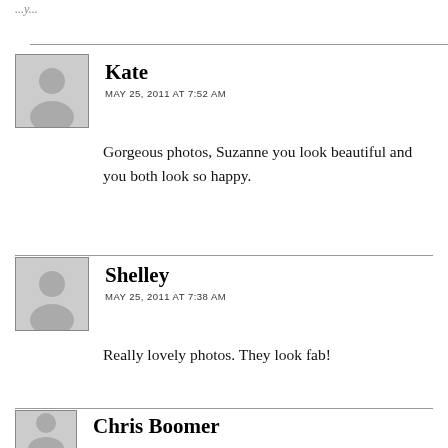(partial title cut off at top)
Kate
MAY 25, 2011 AT 7:52 AM
Gorgeous photos, Suzanne you look beautiful and you both look so happy.
Shelley
MAY 25, 2011 AT 7:38 AM
Really lovely photos. They look fab!
Chris Boomer